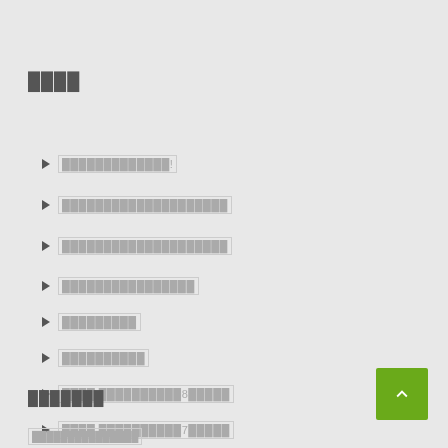████
█████████████!
████████████████████
████████████████████
████████████████
█████████
██████████
████ ██████████8█████
████ ██████████7█████
████ ██████████7██████
████████████
████ ████████████
████████████████████
███████
███████████████